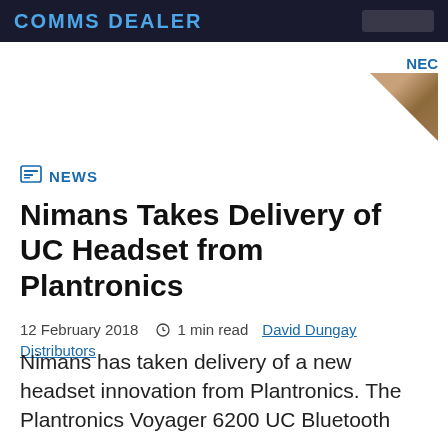NEWS
[Figure (logo): NEC advertisement logo with triangle image in top right corner]
NEWS
Nimans Takes Delivery of UC Headset from Plantronics
12 February 2018   1 min read   David Dungay   Distributors
Nimans has taken delivery of a new headset innovation from Plantronics. The Plantronics Voyager 6200 UC Bluetooth